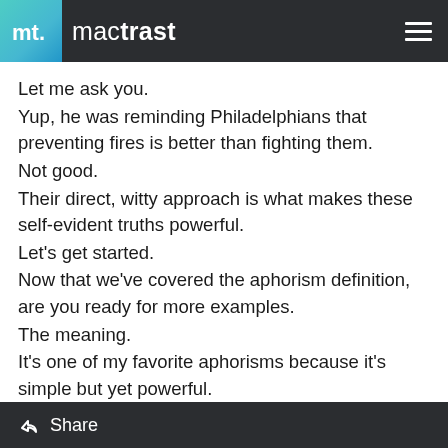mactrast
Let me ask you.
Yup, he was reminding Philadelphians that preventing fires is better than fighting them.
Not good.
Their direct, witty approach is what makes these self-evident truths powerful.
Let's get started.
Now that we've covered the aphorism definition, are you ready for more examples.
The meaning.
It's one of my favorite aphorisms because it's simple but yet powerful.
Let me ask you.
Yup, he was reminding Philadelphians that preventing fires is better than fighting them.
Share